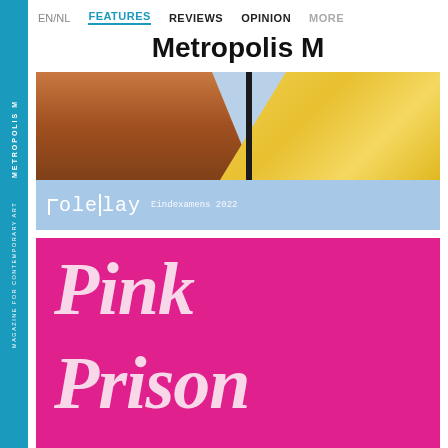METROPOLIS M  MAGAZINE FOR CONTEMPORARY ART
EN/NL  FEATURES  REVIEWS  OPINION  MORE
Metropolis M
[Figure (illustration): Card with light blue background. Top portion shows a photograph of yellow textured fabric and brown/orange elements with a black strap. Bottom portion shows the text 'roleplay' in white handwritten-style font with a bracket, and 'Eindexamens 2022' in smaller text.]
[Figure (illustration): Pink/magenta card with large serif text reading 'Pink' on first line and 'Prison' on second line in light pink/cream color.]